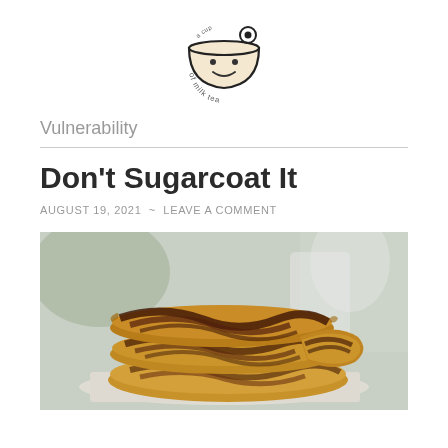[Figure (logo): Circular logo of a cute cup of milk tea with a smiley face, outlined in black with text 'of milk tea' around the bottom arc]
Vulnerability
Don't Sugarcoat It
AUGUST 19, 2021 ~ LEAVE A COMMENT
[Figure (photo): Close-up photo of stacked chocolate marble cookies on white parchment paper, soft focus background with greenery and white cup]